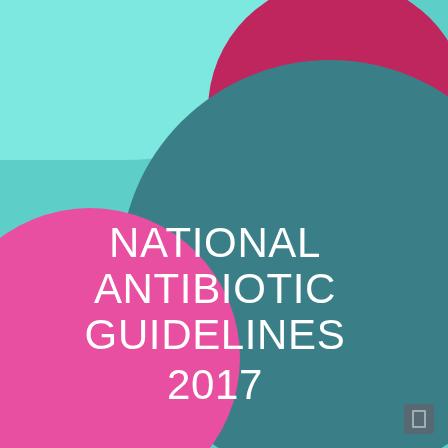[Figure (illustration): Cover page with abstract overlapping circular shapes in cyan, light cyan, dark teal, magenta/crimson, and hot pink colors forming a colorful geometric background design.]
NATIONAL ANTIBIOTIC GUIDELINES 2017